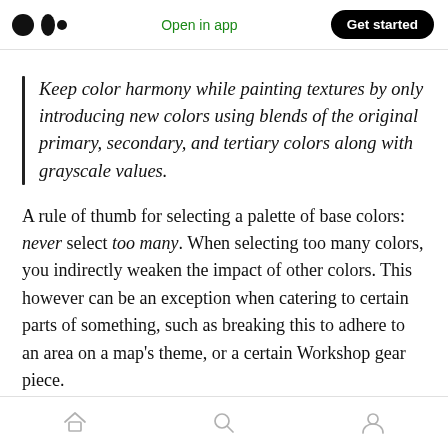Medium — Open in app | Get started
Keep color harmony while painting textures by only introducing new colors using blends of the original primary, secondary, and tertiary colors along with grayscale values.
A rule of thumb for selecting a palette of base colors: never select too many. When selecting too many colors, you indirectly weaken the impact of other colors. This however can be an exception when catering to certain parts of something, such as breaking this to adhere to an area on a map's theme, or a certain Workshop gear piece.
Home | Search | Profile